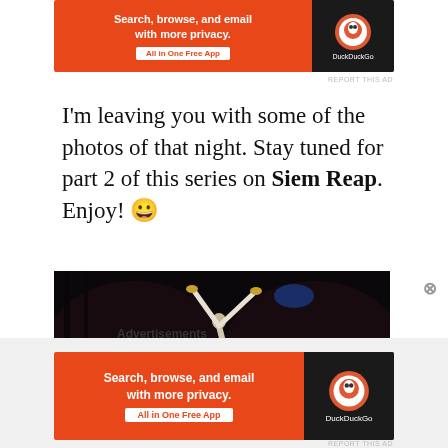[Figure (other): DuckDuckGo advertisement banner top — orange background with text 'Search, browse, and email with more privacy. All in One Free App' and DuckDuckGo logo on dark background]
I'm leaving you with some of the photos of that night. Stay tuned for part 2 of this series on Siem Reap. Enjoy! 😀
[Figure (photo): Indoor circus/performance photo showing an acrobat performing a handstand move on stage, with audience watching from both sides, dark venue with colorful lights]
Advertisements
[Figure (other): DuckDuckGo advertisement banner bottom — orange background with text 'Search, browse, and email with more privacy. All in One Free App' and DuckDuckGo logo on dark background]